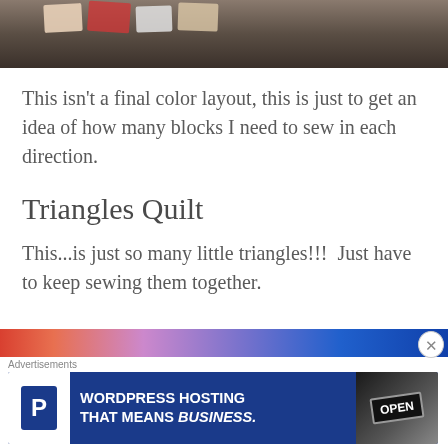[Figure (photo): Photo of quilting fabric pieces laid out on a dark wood floor, partially visible at the top of the page.]
This isn't a final color layout, this is just to get an idea of how many blocks I need to sew in each direction.
Triangles Quilt
This...is just so many little triangles!!!  Just have to keep sewing them together.
[Figure (screenshot): Advertisement banner: WordPress Hosting That Means Business, with a P logo and an OPEN sign photo.]